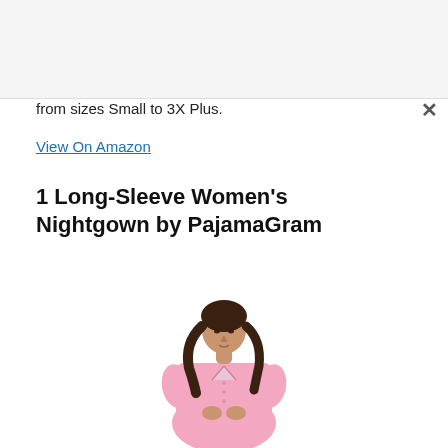from sizes Small to 3X Plus.
View On Amazon
1 Long-Sleeve Women's Nightgown by PajamaGram
[Figure (photo): Woman wearing a pink long-sleeve nightgown, shown from the waist up, with dark wavy hair, posing against a white background.]